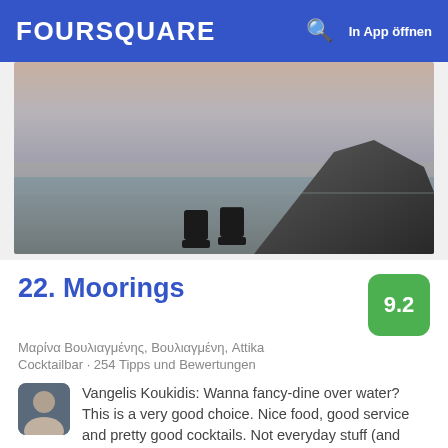FOURSQUARE  In App öffnen
[Figure (photo): Panoramic sunset photo of Vouliagmeni marina with water, sky, rocky hill and chairs in foreground]
22. Moorings
Μαρίνα Βουλιαγμένης, Βουλιαγμένη, Attika
Cocktailbar · 254 Tipps und Bewertungen
Vangelis Koukidis: Wanna fancy-dine over water? This is a very good choice. Nice food, good service and pretty good cocktails. Not everyday stuff (and prices) but also not untouchable. You get what you pay for!